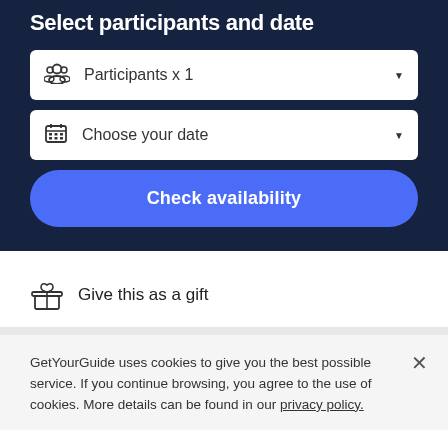Select participants and date
Participants x 1
Choose your date
Check availability
Give this as a gift
GetYourGuide uses cookies to give you the best possible service. If you continue browsing, you agree to the use of cookies. More details can be found in our privacy policy.